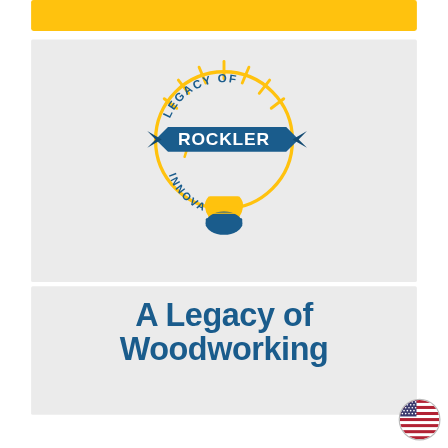[Figure (other): Yellow rectangular banner/bar at the top of the page]
[Figure (logo): Rockler 'Legacy of Innovation' logo — a lightbulb illustration with yellow rays, a circular yellow outline, a teal/dark blue banner reading 'ROCKLER' in white bold text, and curved text reading 'LEGACY OF' above and 'INNOVATION' below, on a light gray background]
A Legacy of Woodworking
[Figure (illustration): Small circular US flag icon/badge in bottom-right corner]